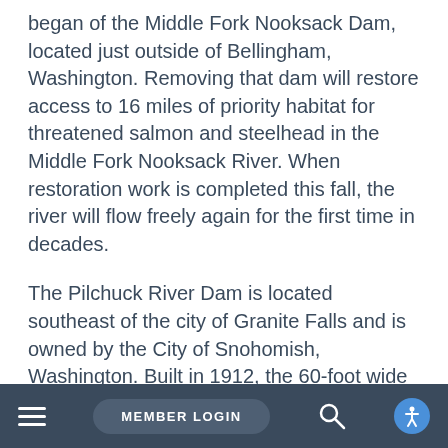began of the Middle Fork Nooksack Dam, located just outside of Bellingham, Washington. Removing that dam will restore access to 16 miles of priority habitat for threatened salmon and steelhead in the Middle Fork Nooksack River. When restoration work is completed this fall, the river will flow freely again for the first time in decades.
The Pilchuck River Dam is located southeast of the city of Granite Falls and is owned by the City of Snohomish, Washington. Built in 1912, the 60-foot wide and 10-foot tall dam previously provided drinking water to the City of Snohomish. But the city now uses water from the more reliable—and less costly—City of Everett water source in the Sultan River.
MEMBER LOGIN